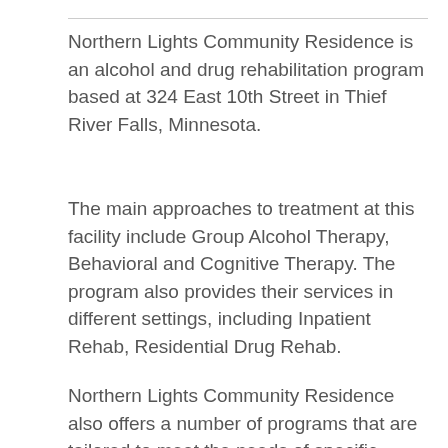Northern Lights Community Residence is an alcohol and drug rehabilitation program based at 324 East 10th Street in Thief River Falls, Minnesota.
The main approaches to treatment at this facility include Group Alcohol Therapy, Behavioral and Cognitive Therapy. The program also provides their services in different settings, including Inpatient Rehab, Residential Drug Rehab.
Northern Lights Community Residence also offers a number of programs that are tailored to meet the needs of specific people such as: Addiction Treatment for Persons with Co-